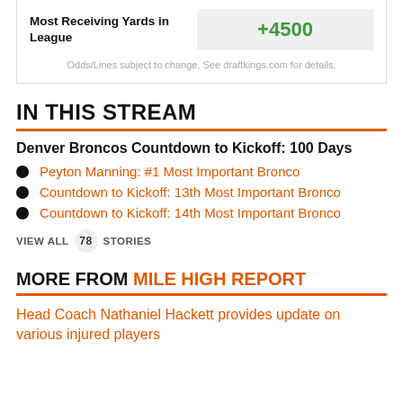| Most Receiving Yards in League | +4500 |
| --- | --- |
IN THIS STREAM
Denver Broncos Countdown to Kickoff: 100 Days
Peyton Manning: #1 Most Important Bronco
Countdown to Kickoff: 13th Most Important Bronco
Countdown to Kickoff: 14th Most Important Bronco
VIEW ALL 78 STORIES
MORE FROM MILE HIGH REPORT
Head Coach Nathaniel Hackett provides update on various injured players